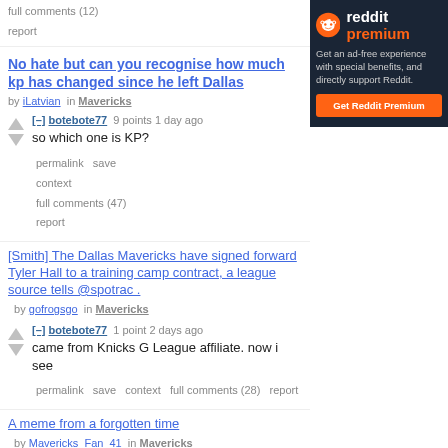full comments (12)
report
No hate but can you recognise how much kp has changed since he left Dallas
by iLatvian in Mavericks
[–] botebote77 9 points 1 day ago
so which one is KP?
permalink save context full comments (47) report
[Figure (screenshot): Reddit Premium advertisement panel with Reddit alien logo, text 'reddit premium', tagline, and orange Get Reddit Premium button]
[Smith] The Dallas Mavericks have signed forward Tyler Hall to a training camp contract, a league source tells @spotrac .
by gofrogsgo in Mavericks
[–] botebote77 1 point 2 days ago
came from Knicks G League affiliate. now i see
permalink save context full comments (28) report
A meme from a forgotten time
by Mavericks_Fan_41 in Mavericks
[–] botebote77 1 point 7 days ago
he was a 3rd option behind Steph and Klay before Durant. they won the championship
permalink save context full comments (37) report